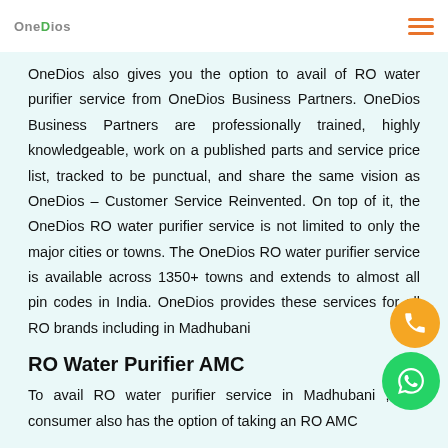OneDios
OneDios also gives you the option to avail of RO water purifier service from OneDios Business Partners. OneDios Business Partners are professionally trained, highly knowledgeable, work on a published parts and service price list, tracked to be punctual, and share the same vision as OneDios – Customer Service Reinvented. On top of it, the OneDios RO water purifier service is not limited to only the major cities or towns. The OneDios RO water purifier service is available across 1350+ towns and extends to almost all pin codes in India. OneDios provides these services for all RO brands including in Madhubani
RO Water Purifier AMC
To avail RO water purifier service in Madhubani , the consumer also has the option of taking an RO AMC